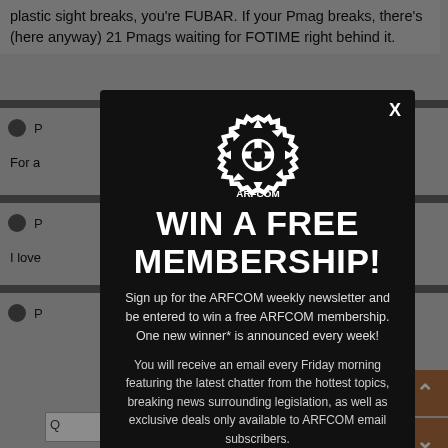plastic sight breaks, you're FUBAR. If your Pmag breaks, there's (here anyway) 21 Pmags waiting for FOTIME right behind it.
For a
I love
Q
[Figure (screenshot): ARFCOM modal popup with gear logo saying WIN A FREE MEMBERSHIP! with newsletter sign-up description and email input field.]
WIN A FREE MEMBERSHIP!
Sign up for the ARFCOM weekly newsletter and be entered to win a free ARFCOM membership. One new winner* is announced every week!
You will receive an email every Friday morning featuring the latest chatter from the hottest topics, breaking news surrounding legislation, as well as exclusive deals only available to ARFCOM email subscribers.